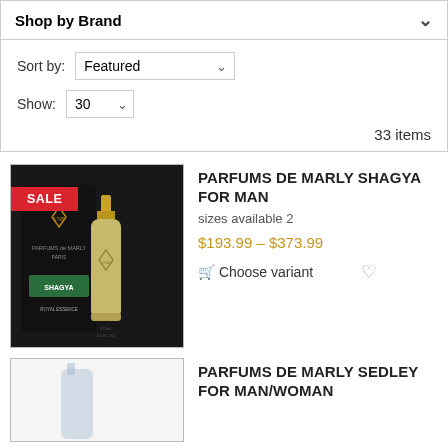Shop by Brand
Sort by: Featured
Show: 30
33 items
[Figure (photo): Parfums de Marly Shagya For Man perfume bottle with black box, SALE badge in red]
PARFUMS DE MARLY SHAGYA FOR MAN
sizes available 2
$193.99 – $373.99
Choose variant
[Figure (photo): Parfums de Marly Sedley For Man/Woman perfume product image, partially visible]
PARFUMS DE MARLY SEDLEY FOR MAN/WOMAN